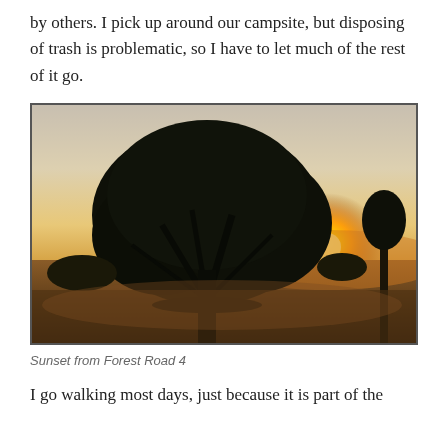by others. I pick up around our campsite, but disposing of trash is problematic, so I have to let much of the rest of it go.
[Figure (photo): A large spreading tree silhouetted against a sunset sky at golden hour, with the sun visible low behind the tree branches. Dry grassland and a smaller tree visible in the background. Warm orange and golden tones on the ground.]
Sunset from Forest Road 4
I go walking most days, just because it is part of the